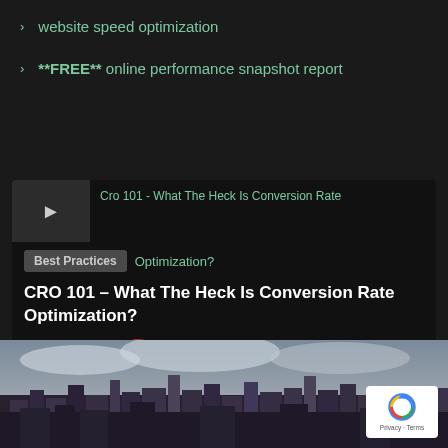website speed optimization
**FREE** online performance snapshot report
[Figure (screenshot): Thumbnail image placeholder for CRO 101 article with arrow icon]
Cro 101 - What The Heck Is Conversion Rate
Best Practices  Optimization?
CRO 101 – What The Heck Is Conversion Rate Optimization?
Offer Ben-Saadon   January 23, 2022   No Comments
[Figure (photo): City skyline photo showing buildings against a cloudy sky]
[Figure (logo): reCAPTCHA badge with Privacy - Terms text]